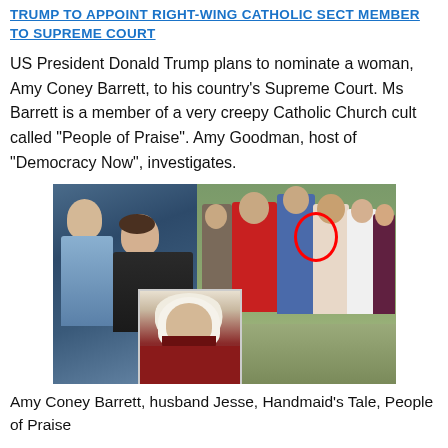TRUMP TO APPOINT RIGHT-WING CATHOLIC SECT MEMBER TO SUPREME COURT
US President Donald Trump plans to nominate a woman, Amy Coney Barrett, to his country's Supreme Court. Ms Barrett is a member of a very creepy Catholic Church cult called “People of Praise”. Amy Goodman, host of “Democracy Now”, investigates.
[Figure (photo): Composite image: left side shows Amy Coney Barrett and husband Jesse Barrett in formal attire; right side shows a group photo of several people outdoors with a red circle highlighting one woman; an inset shows a figure in a Handmaid’s Tale red robe and white bonnet.]
Amy Coney Barrett, husband Jesse, Handmaid’s Tale, People of Praise